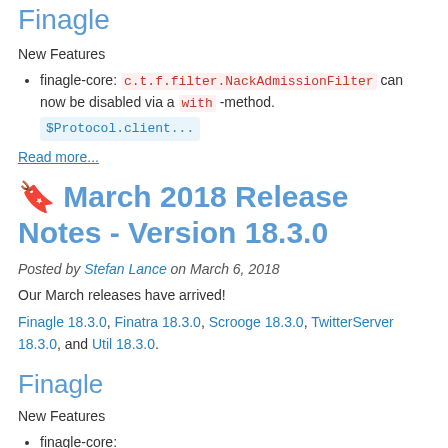Finagle
New Features
finagle-core: c.t.f.filter.NackAdmissionFilter can now be disabled via a with -method. $Protocol.client...
Read more...
🔖 March 2018 Release Notes - Version 18.3.0
Posted by Stefan Lance on March 6, 2018
Our March releases have arrived!
Finagle 18.3.0, Finatra 18.3.0, Scrooge 18.3.0, TwitterServer 18.3.0, and Util 18.3.0.
Finagle
New Features
finagle-core: